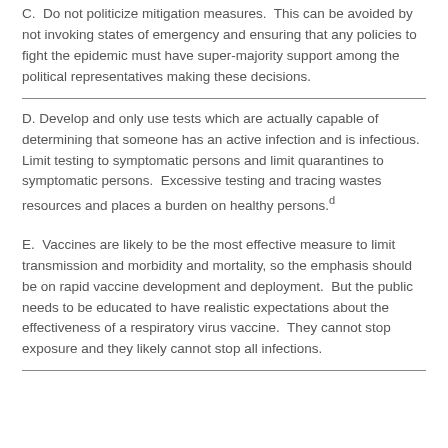C.  Do not politicize mitigation measures.  This can be avoided by not invoking states of emergency and ensuring that any policies to fight the epidemic must have super-majority support among the political representatives making these decisions.
D. Develop and only use tests which are actually capable of determining that someone has an active infection and is infectious.  Limit testing to symptomatic persons and limit quarantines to symptomatic persons.  Excessive testing and tracing wastes resources and places a burden on healthy persons.d
E.  Vaccines are likely to be the most effective measure to limit transmission and morbidity and mortality, so the emphasis should be on rapid vaccine development and deployment.  But the public needs to be educated to have realistic expectations about the effectiveness of a respiratory virus vaccine.  They cannot stop exposure and they likely cannot stop all infections.